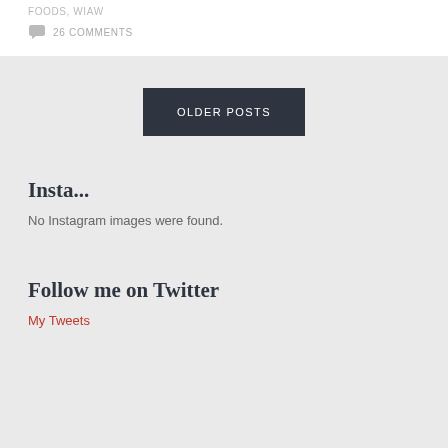FOODS, WIAW
26 COMMENTS
OLDER POSTS
Insta...
No Instagram images were found.
Follow me on Twitter
My Tweets